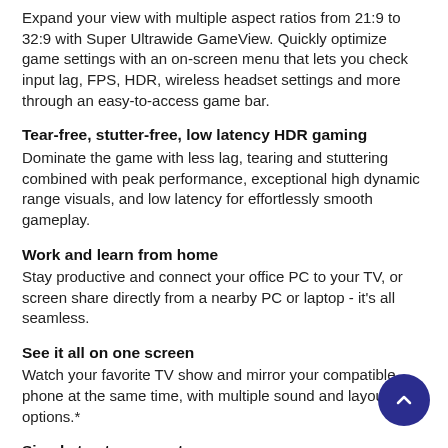Expand your view with multiple aspect ratios from 21:9 to 32:9 with Super Ultrawide GameView. Quickly optimize game settings with an on-screen menu that lets you check input lag, FPS, HDR, wireless headset settings and more through an easy-to-access game bar.
Tear-free, stutter-free, low latency HDR gaming
Dominate the game with less lag, tearing and stuttering combined with peak performance, exceptional high dynamic range visuals, and low latency for effortlessly smooth gameplay.
Work and learn from home
Stay productive and connect your office PC to your TV, or screen share directly from a nearby PC or laptop - it's all seamless.
See it all on one screen
Watch your favorite TV show and mirror your compatible phone at the same time, with multiple sound and layout options.*
Simply tap to connect
Mirror your phone on your TV with just a tap within